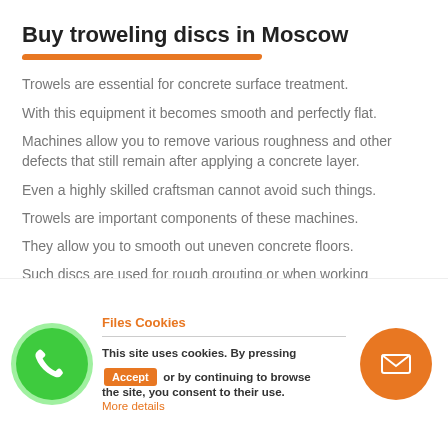Buy troweling discs in Moscow
Trowels are essential for concrete surface treatment.
With this equipment it becomes smooth and perfectly flat.
Machines allow you to remove various roughness and other defects that still remain after applying a concrete layer.
Even a highly skilled craftsman cannot avoid such things.
Trowels are important components of these machines.
They allow you to smooth out uneven concrete floors.
Such discs are used for rough grouting or when working with floors in industrial premises.
[Figure (infographic): Cookie consent overlay with green phone icon circle on left, cookie message in center, and orange mail icon circle on right. Title: Files Cookies. Text: This site uses cookies. By pressing Accept or by continuing to browse the site, you consent to their use. More details link in orange.]